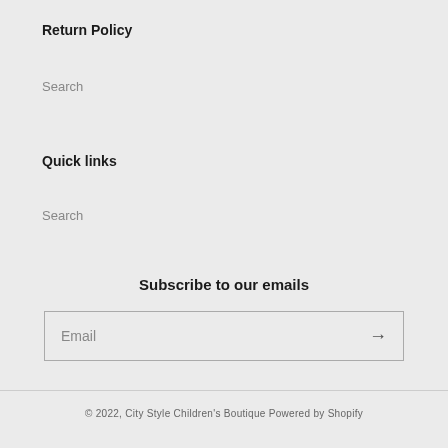Return Policy
Search
Quick links
Search
Subscribe to our emails
Email
© 2022, City Style Children's Boutique Powered by Shopify